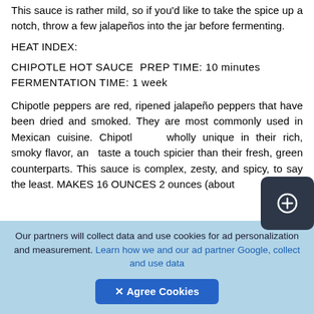This sauce is rather mild, so if you'd like to take the spice up a notch, throw a few jalapeños into the jar before fermenting.
HEAT INDEX:
CHIPOTLE HOT SAUCE  PREP TIME: 10 minutes  FERMENTATION TIME: 1 week
Chipotle peppers are red, ripened jalapeño peppers that have been dried and smoked. They are most commonly used in Mexican cuisine. Chipotl... wholly unique in their rich, smoky flavor, and taste a touch spicier than their fresh, green counterparts. This sauce is complex, zesty, and spicy, to say the least. MAKES 16 OUNCES 2 ounces (about
Our partners will collect data and use cookies for ad personalization and measurement. Learn how we and our ad partner Google, collect and use data
✕ Agree Cookies